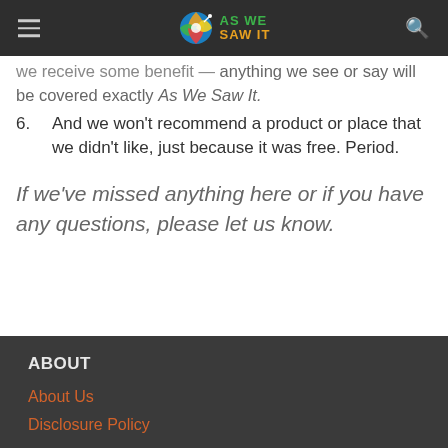AS WE SAW IT
we receive some benefit — anything we see or say will be covered exactly As We Saw It.
6. And we won't recommend a product or place that we didn't like, just because it was free. Period.
If we've missed anything here or if you have any questions, please let us know.
ABOUT
About Us
Disclosure Policy